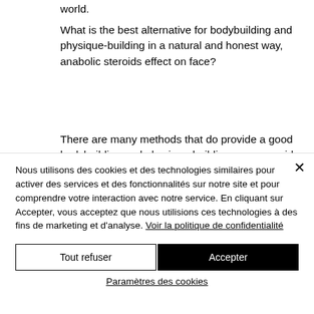world.
What is the best alternative for bodybuilding and physique-building in a natural and honest way, anabolic steroids effect on face?
There are many methods that do provide a good bodybuilding and physique-building program, side effects of steroids nhs. We
Nous utilisons des cookies et des technologies similaires pour activer des services et des fonctionnalités sur notre site et pour comprendre votre interaction avec notre service. En cliquant sur Accepter, vous acceptez que nous utilisions ces technologies à des fins de marketing et d'analyse. Voir la politique de confidentialité
Tout refuser
Accepter
Paramètres des cookies